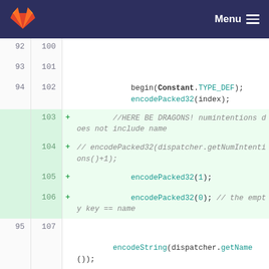GitLab | Menu
[Figure (screenshot): Code diff view showing lines 92-109 with added lines 103-106 highlighted in green, showing Java/Android encoder code]
@@ -123,6 +135,10 @@ public class EncoderChannel implements Encoder {